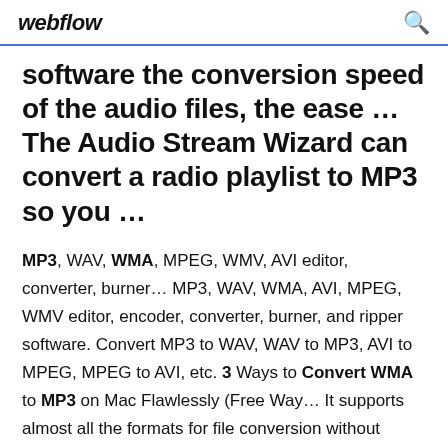webflow
software the conversion speed of the audio files, the ease … The Audio Stream Wizard can convert a radio playlist to MP3 so you …
MP3, WAV, WMA, MPEG, WMV, AVI editor, converter, burner… MP3, WAV, WMA, AVI, MPEG, WMV editor, encoder, converter, burner, and ripper software. Convert MP3 to WAV, WAV to MP3, AVI to MPEG, MPEG to AVI, etc. 3 Ways to Convert WMA to MP3 on Mac Flawlessly (Free Way… It supports almost all the formats for file conversion without losing quality, including WMA to MP3, MKV to MP4, MTS to MP4